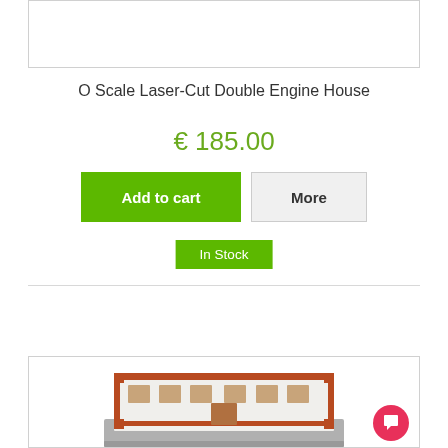[Figure (other): Top product image box (empty/white)]
O Scale Laser-Cut Double Engine House
€ 185.00
Add to cart | More
In Stock
♡ Add to Wishlist
[Figure (photo): Photo of O Scale Laser-Cut Double Engine House model building with red and white facade, windows, and base mat]